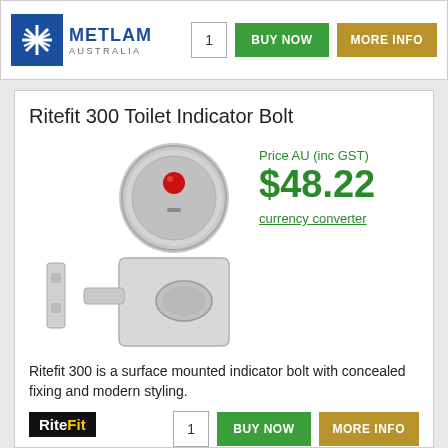[Figure (logo): Metlam Australia logo — blue square with white starburst icon, text METLAM AUSTRALIA]
1
BUY NOW
MORE INFO
Ritefit 300 Toilet Indicator Bolt
[Figure (photo): Product photo of Ritefit 300 Toilet Indicator Bolt — silver circular indicator escutcheon with red dot, and square bolt mechanism with thumbturn, plus strike plate]
Price AU (inc GST)
$48.22
currency converter
Ritefit 300 is a surface mounted indicator bolt with concealed fixing and modern styling.
1
BUY NOW
MORE INFO
[Figure (logo): RiteFit logo — black background with white and yellow text RiteFit]